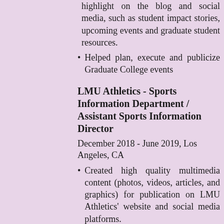highlight on the blog and social media, such as student impact stories, upcoming events and graduate student resources.
Helped plan, execute and publicize Graduate College events
LMU Athletics - Sports Information Department / Assistant Sports Information Director
December 2018 - June 2019, Los Angeles, CA
Created high quality multimedia content (photos, videos, articles, and graphics) for publication on LMU Athletics' website and social media platforms.
Supported the sports information needs of 6 varsity teams (men's & women's basketball, softball, baseball, and men's & women's soccer) by working closely on deadlines and...